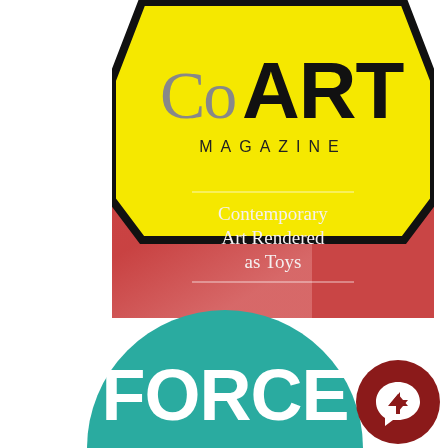[Figure (logo): CoART Magazine logo: yellow hexagon shape with 'Co' in gray and 'ART' in bold black, 'MAGAZINE' in spaced caps below, set against a red-to-pink gradient rectangle background with white text 'Contemporary Art Rendered as Toys' and horizontal rules above and below the text.]
[Figure (logo): FORCE logo: large teal/turquoise semicircle with bold white text 'FORCE', overlapping a dark red circle in bottom right containing a white Facebook Messenger lightning bolt icon.]